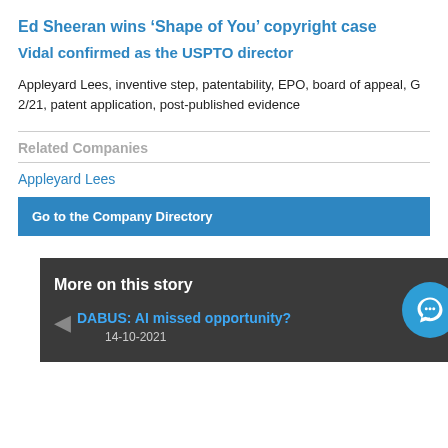Ed Sheeran wins ‘Shape of You’ copyright case
Vidal confirmed as the USPTO director
Appleyard Lees, inventive step, patentability, EPO, board of appeal, G 2/21, patent application, post-published evidence
Related Companies
Appleyard Lees
Go to the Company Directory
More on this story
DABUS: AI missed opportunity?
14-10-2021